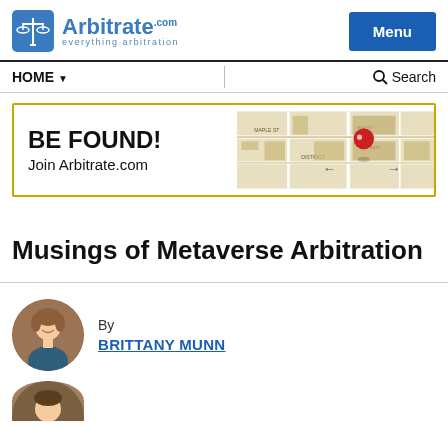Arbitrate.com — everything arbitration | Menu
HOME ▾ | Search
[Figure (infographic): BE FOUND! Join Arbitrate.com — advertisement banner with map background and red pin]
Musings of Metaverse Arbitration
By BRITTANY MUNN